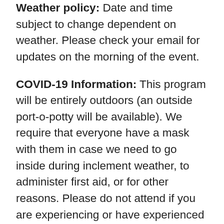Weather policy: Date and time subject to change dependent on weather. Please check your email for updates on the morning of the event.
COVID-19 Information: This program will be entirely outdoors (an outside port-o-potty will be available). We require that everyone have a mask with them in case we need to go inside during inclement weather, to administer first aid, or for other reasons. Please do not attend if you are experiencing or have experienced in the last two weeks any symptoms associated with COVID-19 (fever, cough, shortness of breath, etc.).